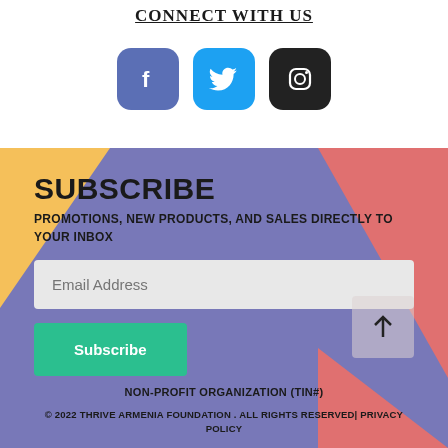CONNECT WITH US
[Figure (illustration): Three social media icon buttons: Facebook (dark blue rounded square), Twitter (light blue rounded square), Instagram (dark/black rounded square)]
SUBSCRIBE
PROMOTIONS, NEW PRODUCTS, AND SALES DIRECTLY TO YOUR INBOX
Email Address
Subscribe
NON-PROFIT ORGANIZATION (TIN#)
© 2022 THRIVE ARMENIA FOUNDATION . ALL RIGHTS RESERVED| PRIVACY POLICY